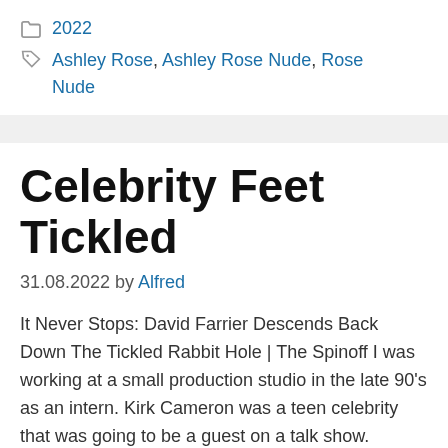2022
Ashley Rose, Ashley Rose Nude, Rose Nude
Celebrity Feet Tickled
31.08.2022 by Alfred
It Never Stops: David Farrier Descends Back Down The Tickled Rabbit Hole | The Spinoff I was working at a small production studio in the late 90's as an intern. Kirk Cameron was a teen celebrity that was going to be a guest on a talk show. hotxcelebritybabe.com ›